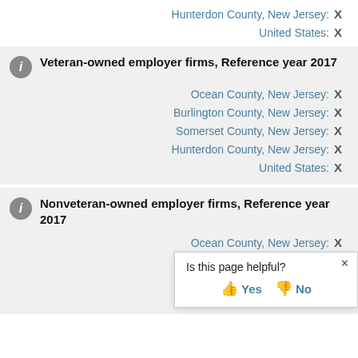Hunterdon County, New Jersey: X
United States: X
Veteran-owned employer firms, Reference year 2017
Ocean County, New Jersey: X
Burlington County, New Jersey: X
Somerset County, New Jersey: X
Hunterdon County, New Jersey: X
United States: X
Nonveteran-owned employer firms, Reference year 2017
Ocean County, New Jersey: X
Burlington County, New Jersey: X
Somerset County, New Jersey: X (partially visible)
Hunterdon County, New Jersey: (partially visible)
Is this page helpful? Yes / No